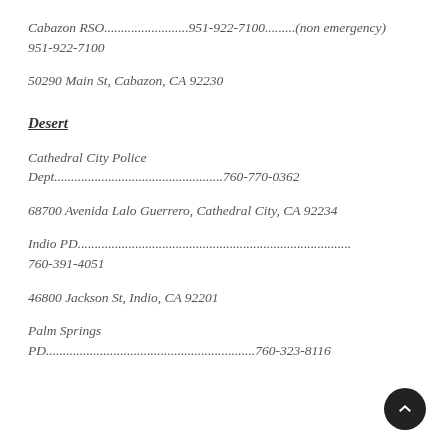Cabazon RSO.........................951-922-7100.........(non emergency) 951-922-7100
50290 Main St, Cabazon, CA 92230
Desert
Cathedral City Police Dept..................................................760-770-0362
68700 Avenida Lalo Guerrero, Cathedral City, CA 92234
Indio PD.............................................................................. 760-391-4051
46800 Jackson St, Indio, CA 92201
Palm Springs PD..............................................................760-323-8116